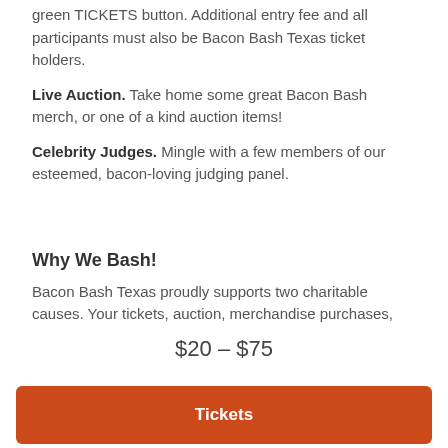green TICKETS button. Additional entry fee and all participants must also be Bacon Bash Texas ticket holders.
Live Auction. Take home some great Bacon Bash merch, or one of a kind auction items!
Celebrity Judges. Mingle with a few members of our esteemed, bacon-loving judging panel.
Why We Bash!
Bacon Bash Texas proudly supports two charitable causes. Your tickets, auction, merchandise purchases, and donations help us provide warm winter gear for
$20 – $75
Tickets